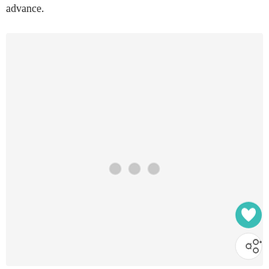advance.
[Figure (other): Large light gray placeholder rectangle with three gray loading dots centered in the middle, indicating an image or content loading state. Two circular UI buttons are overlaid at the bottom-right: a teal/green heart button and a white share button with a share icon.]